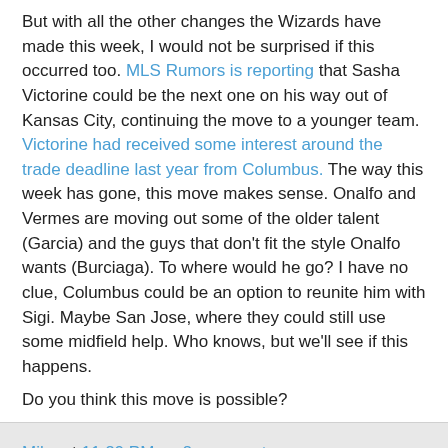But with all the other changes the Wizards have made this week, I would not be surprised if this occurred too. MLS Rumors is reporting that Sasha Victorine could be the next one on his way out of Kansas City, continuing the move to a younger team. Victorine had received some interest around the trade deadline last year from Columbus. The way this week has gone, this move makes sense. Onalfo and Vermes are moving out some of the older talent (Garcia) and the guys that don't fit the style Onalfo wants (Burciaga). To where would he go? I have no clue, Columbus could be an option to reunite him with Sigi. Maybe San Jose, where they could still use some midfield help. Who knows, but we'll see if this happens.
Do you think this move is possible?
Mike at 11:20 PM   2 comments:
The Kansas City Wizards are on the Clock